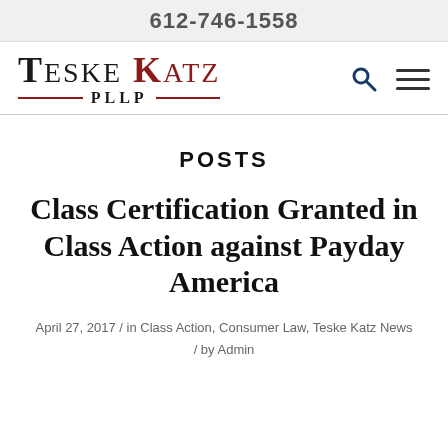612-746-1558
[Figure (logo): Teske Katz PLLP law firm logo with red decorative lines and search/menu icons]
POSTS
Class Certification Granted in Class Action against Payday America
April 27, 2017 / in Class Action, Consumer Law, Teske Katz News / by Admin